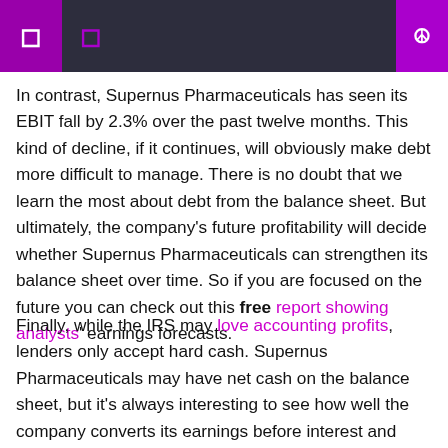In contrast, Supernus Pharmaceuticals has seen its EBIT fall by 2.3% over the past twelve months. This kind of decline, if it continues, will obviously make debt more difficult to manage. There is no doubt that we learn the most about debt from the balance sheet. But ultimately, the company’s future profitability will decide whether Supernus Pharmaceuticals can strengthen its balance sheet over time. So if you are focused on the future you can check out this free report showing analysts’ earnings forecasts.
Finally, while the IRS may love accounting profits, lenders only accept hard cash. Supernus Pharmaceuticals may have net cash on the balance sheet, but it’s always interesting to see how well the company converts its earnings before interest and taxes (EBIT) into free cash flow, as this will influence both its need and capacity, to manage debt. Over the past